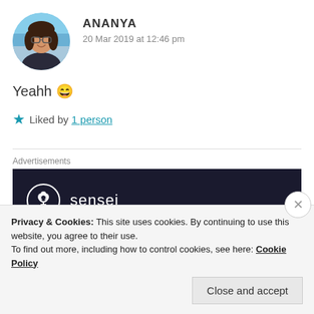[Figure (photo): Circular avatar photo of a young woman smiling, wearing glasses, outdoors with a blue sky background]
ANANYA
20 Mar 2019 at 12:46 pm
Yeahh 😄
★ Liked by 1 person
Advertisements
[Figure (logo): Sensei logo: white circle with tree/person icon and text 'sensei' on dark navy background]
Privacy & Cookies: This site uses cookies. By continuing to use this website, you agree to their use.
To find out more, including how to control cookies, see here: Cookie Policy
Close and accept